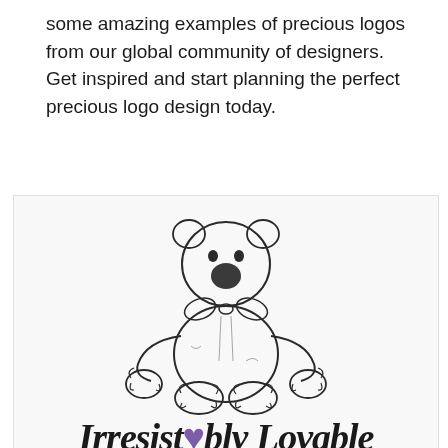some amazing examples of precious logos from our global community of designers. Get inspired and start planning the perfect precious logo design today.
[Figure (illustration): A sketch-style illustration of a stuffed teddy bear/plush toy drawn in black and white pen style, sitting with arms and legs spread out. Below the bear is partially visible text in bold serif italic font reading 'Irresistibly Lovable' with a small purple heart replacing the dot of the letter i.]